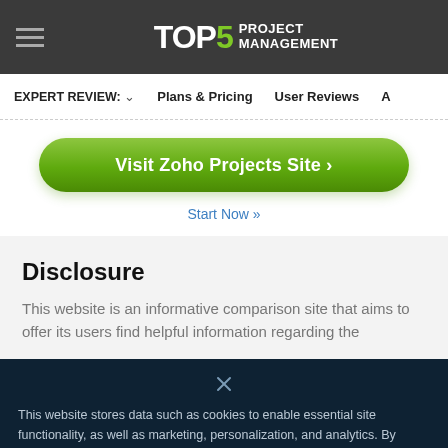TOP5 PROJECT MANAGEMENT
EXPERT REVIEW: ∨   Plans & Pricing   User Reviews   A
Visit Zoho Projects Site ›
Start Now »
Disclosure
This website is an informative comparison site that aims to offer its users find helpful information regarding the
This website stores data such as cookies to enable essential site functionality, as well as marketing, personalization, and analytics. By remaining on this website you indicate your consent. Cookie Policy